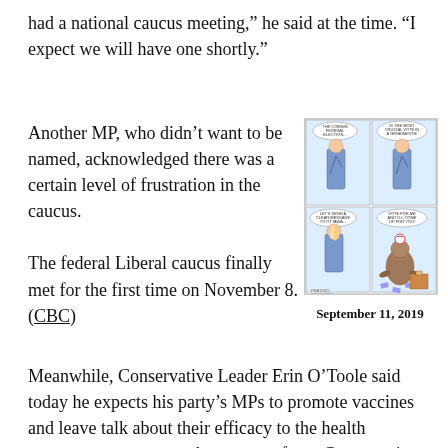had a national caucus meeting,” he said at the time. “I expect we will have one shortly.”
Another MP, who didn’t want to be named, acknowledged there was a certain level of frustration in the caucus.
[Figure (illustration): Four-panel political cartoon depicting a politician and a seal, with speech bubbles about an election and voting, dated September 11, 2019]
September 11, 2019
The federal Liberal caucus finally met for the first time on November 8. (CBC)
Meanwhile, Conservative Leader Erin O’Toole said today he expects his party’s MPs to promote vaccines and leave talk about their efficacy to the health experts — a comment that comes after a Conservative caucus member made